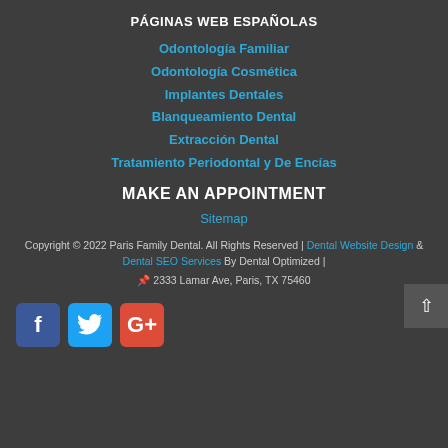PÁGINAS WEB ESPAÑOLAS
Odontología Familiar
Odontología Cosmética
Implantes Dentales
Blanqueamiento Dental
Extracción Dental
Tratamiento Periodontal y De Encías
MAKE AN APPOINTMENT
Sitemap
Copyright © 2022 Paris Family Dental. All Rights Reserved | Dental Website Design & Dental SEO Services By Dental Optimized | 📌 2333 Lamar Ave, Paris, TX 75460